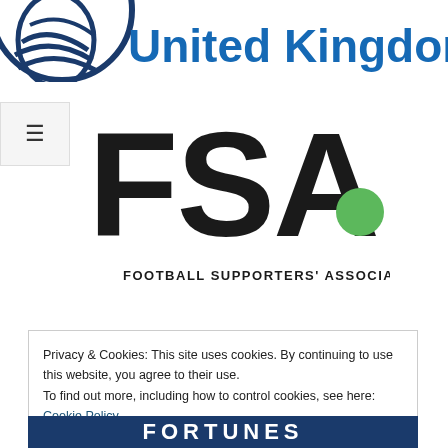[Figure (logo): Pensions United Kingdom logo — circular emblem with lines on left, bold navy text 'United Kingdom' on right, partially cropped at top]
[Figure (logo): FSA Football Supporters' Association logo — large bold black letters 'FSA' with a green filled circle dot after the A, subtitle text 'FOOTBALL SUPPORTERS' ASSOCIATION' below]
Privacy & Cookies: This site uses cookies. By continuing to use this website, you agree to their use.
To find out more, including how to control cookies, see here: Cookie Policy
[Figure (screenshot): Partially visible 'FORTUNES' or similar text banner in white bold letters on dark navy background at bottom]